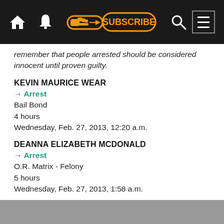SUBSCRIBE navigation bar
remember that people arrested should be considered innocent until proven guilty.
KEVIN MAURICE WEAR
→ Arrest
Bail Bond
4 hours
Wednesday, Feb. 27, 2013, 12:20 a.m.
DEANNA ELIZABETH MCDONALD
→ Arrest
O.R. Matrix - Felony
5 hours
Wednesday, Feb. 27, 2013, 1:58 a.m.
MICHEAS LEHNHERR
→ Arrest
Transfered Courtesy Hold